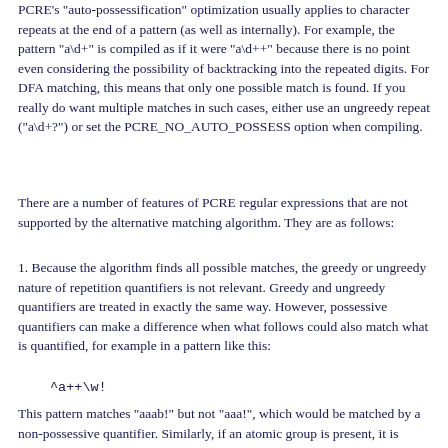PCRE's "auto-possessification" optimization usually applies to character repeats at the end of a pattern (as well as internally). For example, the pattern "a\d+" is compiled as if it were "a\d++" because there is no point even considering the possibility of backtracking into the repeated digits. For DFA matching, this means that only one possible match is found. If you really do want multiple matches in such cases, either use an ungreedy repeat ("a\d+?") or set the PCRE_NO_AUTO_POSSESS option when compiling.
There are a number of features of PCRE regular expressions that are not supported by the alternative matching algorithm. They are as follows:
1. Because the algorithm finds all possible matches, the greedy or ungreedy nature of repetition quantifiers is not relevant. Greedy and ungreedy quantifiers are treated in exactly the same way. However, possessive quantifiers can make a difference when what follows could also match what is quantified, for example in a pattern like this:
[Figure (other): Code snippet showing: ^a++\w!]
This pattern matches "aaab!" but not "aaa!", which would be matched by a non-possessive quantifier. Similarly, if an atomic group is present, it is matched as if it were a standalone pattern at the current point, and the best match is then "locked in" for the